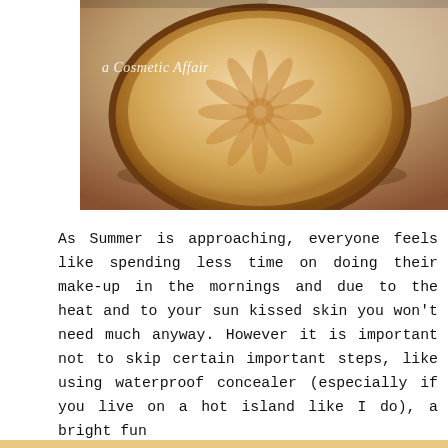[Figure (photo): Close-up photo of an open compact powder makeup product with a sunflower/petal embossed design on the pressed powder, housed in a brown/tan circular compact. Watermark text reads 'a Cosmetic Affair' in white italic script.]
As Summer is approaching, everyone feels like spending less time on doing their make-up in the mornings and due to the heat and to your sun kissed skin you won't need much anyway. However it is important not to skip certain important steps, like using waterproof concealer (especially if you live on a hot island like I do), a bright fun